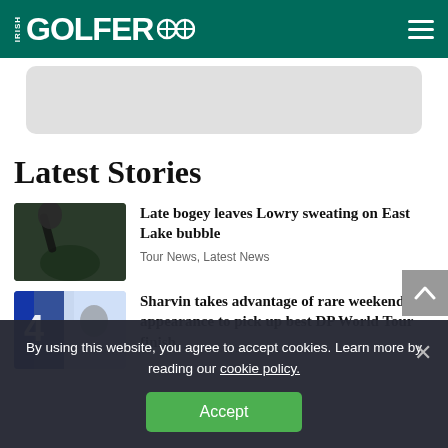Irish Golfer
Latest Stories
Late bogey leaves Lowry sweating on East Lake bubble
Tour News, Latest News
Sharvin takes advantage of rare weekend appearance to pick up best DP World Tour finish
By using this website, you agree to accept cookies. Learn more by reading our cookie policy.